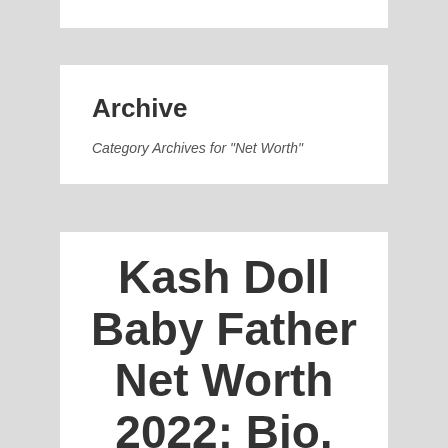Archive
Category Archives for "Net Worth"
Kash Doll Baby Father Net Worth 2022: Bio, Age,